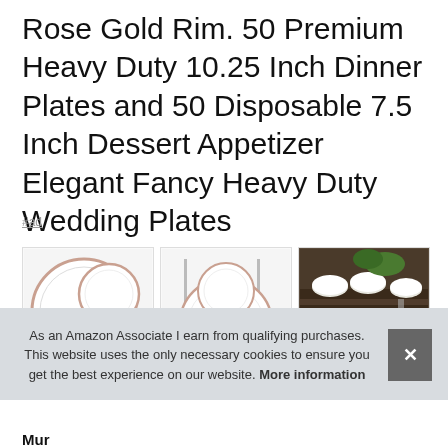Rose Gold Rim. 50 Premium Heavy Duty 10.25 Inch Dinner Plates and 50 Disposable 7.5 Inch Dessert Appetizer Elegant Fancy Heavy Duty Wedding Plates
#ad
[Figure (photo): Three product/lifestyle images in a row: first shows white plates with rose gold rim, second shows plate set with glasses, third shows a dark table setting with food]
As an Amazon Associate I earn from qualifying purchases. This website uses the only necessary cookies to ensure you get the best experience on our website. More information
Mur